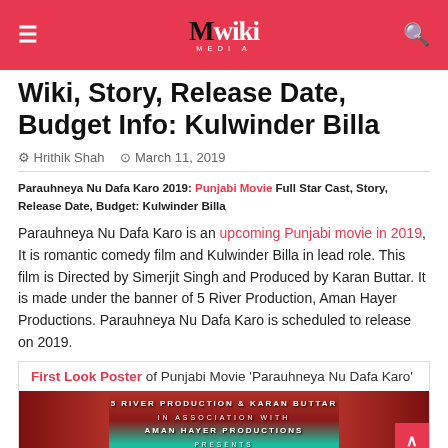Mwiki
Wiki, Story, Release Date, Budget Info: Kulwinder Billa
Hrithik Shah   March 11, 2019
Parauhneya Nu Dafa Karo 2019: Punjabi Movie Full Star Cast, Story, Release Date, Budget: Kulwinder Billa
Parauhneya Nu Dafa Karo is an upcoming Punjabi movie in 2019, It is romantic comedy film and Kulwinder Billa in lead role. This film is Directed by Simerjit Singh and Produced by Karan Buttar. It is made under the banner of 5 River Production, Aman Hayer Productions. Parauhneya Nu Dafa Karo is scheduled to release on 2019.
First Look Poster of Punjabi Movie 'Parauhneya Nu Dafa Karo'
[Figure (photo): Movie poster showing '5 River Production & Karan Buttar in association with Aman Hayer Productions Presents' on a red and teal background]